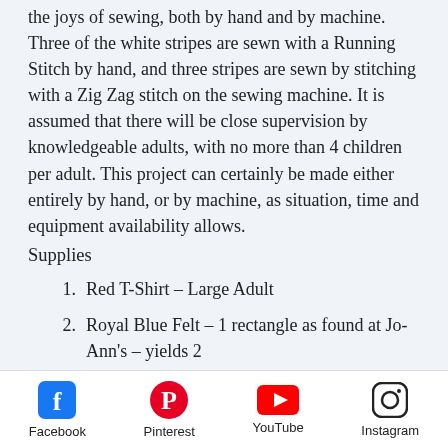the joys of sewing, both by hand and by machine. Three of the white stripes are sewn with a Running Stitch by hand, and three stripes are sewn by stitching with a Zig Zag stitch on the sewing machine. It is assumed that there will be close supervision by knowledgeable adults, with no more than 4 children per adult. This project can certainly be made either entirely by hand, or by machine, as situation, time and equipment availability allows.
Supplies
1.  Red T-Shirt – Large Adult
2.  Royal Blue Felt – 1 rectangle as found at Jo-Ann's – yields 2
Facebook  Pinterest  YouTube  Instagram